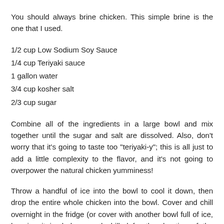You should always brine chicken. This simple brine is the one that I used.
1/2 cup Low Sodium Soy Sauce
1/4 cup Teriyaki sauce
1 gallon water
3/4 cup kosher salt
2/3 cup sugar
Combine all of the ingredients in a large bowl and mix together until the sugar and salt are dissolved. Also, don't worry that it's going to taste too "teriyaki-y"; this is all just to add a little complexity to the flavor, and it's not going to overpower the natural chicken yumminess!
Throw a handful of ice into the bowl to cool it down, then drop the entire whole chicken into the bowl. Cover and chill overnight in the fridge (or cover with another bowl full of ice, keeping it iced down and chilled for the duration of the brining).
RUB